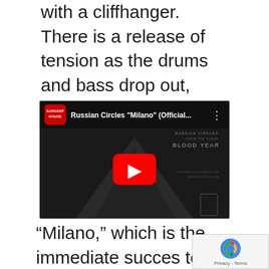with a cliffhanger. There is a release of tension as the drums and bass drop out, leading into a last push in which a coda theme emerges, only to return to doom-thrash mode before ending abruptly.
[Figure (screenshot): YouTube video embed showing Russian Circles 'Milano' (Official...) from the album BLOOD YEAR, with a dark background featuring a triangle/mountain shape, a play button, and Sargent House label logo.]
“Milano,” which is the immediate succes to “Arluck,” is no less heavy than its